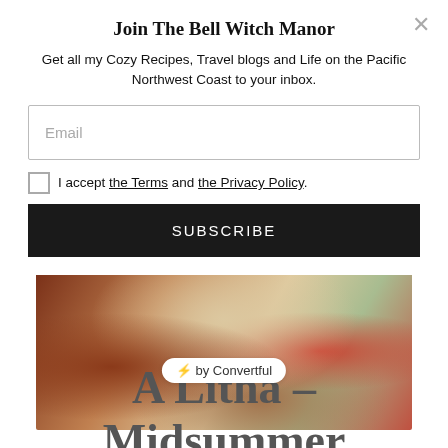Join The Bell Witch Manor
Get all my Cozy Recipes, Travel blogs and Life on the Pacific Northwest Coast to your inbox.
Email
I accept the Terms and the Privacy Policy.
SUBSCRIBE
[Figure (photo): Close-up food photo showing what appears to be a wrap or flatbread with vegetables, with a 'by Convertful' badge overlaid]
A Litha – Midsummer Ritual